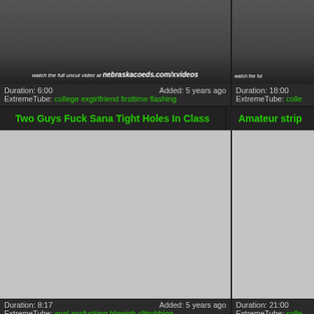[Figure (screenshot): Video thumbnail top left with nebraska coeds watermark]
Duration: 6:00    Added: 5 years ago
ExtremeTube: college exgirlfriend firsttime flashing
[Figure (screenshot): Video thumbnail top right, partially visible, watch the full watermark]
Duration: 18:00
ExtremeTube: colle...
Two Guys Fuck Sana Tight Holes In Class
Amateur strip...
[Figure (screenshot): Main video thumbnail left, gray placeholder]
Duration: 8:17    Added: 5 years ago
ExtremeTube: anal assfucking blowjob clitrubbing
[Figure (screenshot): Main video thumbnail right, gray placeholder]
Duration: 21:00
ExtremeTube: colle...
Jock and Blonde Bimbo get it on at School
Young tee...